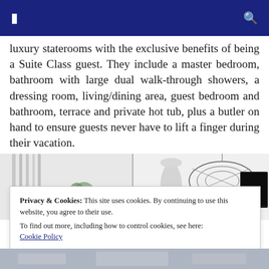☰  🔍
luxury staterooms with the exclusive benefits of being a Suite Class guest. They include a master bedroom, bathroom with large dual walk-through showers, a dressing room, living/dining area, guest bedroom and bathroom, terrace and private hot tub, plus a butler on hand to ensure guests never have to lift a finger during their vacation.
[Figure (photo): Interior photo of a luxury cruise ship stateroom or suite, showing a bright white ceiling with decorative pendant lights and a circular wire chandelier, with a plant visible on the left side and a TV on the right.]
Privacy & Cookies: This site uses cookies. By continuing to use this website, you agree to their use.
To find out more, including how to control cookies, see here:
Cookie Policy
[Figure (photo): Partial bottom strip showing another interior photo of the cruise ship suite.]